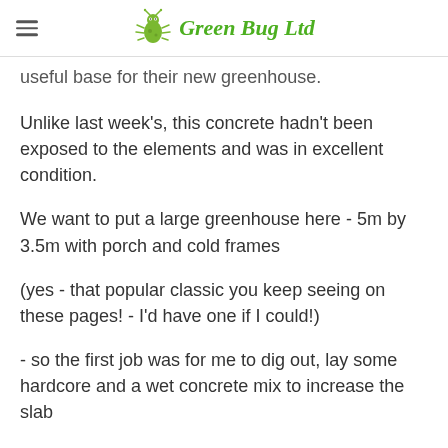Green Bug Ltd
useful base for their new greenhouse.
Unlike last week's, this concrete hadn't been exposed to the elements and was in excellent condition.
We want to put a large greenhouse here - 5m by 3.5m with porch and cold frames
(yes - that popular classic you keep seeing on these pages! - I'd have one if I could!)
- so the first job was for me to dig out, lay some hardcore and a wet concrete mix to increase the slab